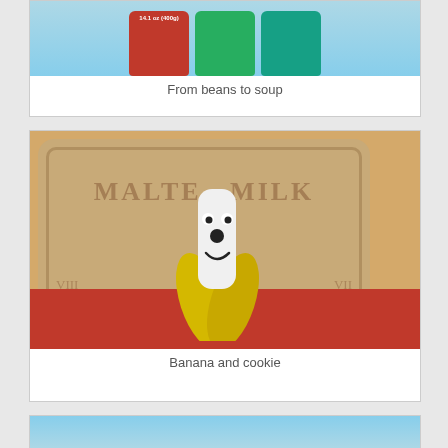[Figure (photo): Top portion of a card showing colorful canned food items (red, green, teal cans) against a light blue background, partially cropped at top]
From beans to soup
[Figure (photo): A stuffed banana plush toy with a cartoon face standing in front of a large malt milk cookie/biscuit pillow on a red surface]
Banana and cookie
[Figure (photo): Bottom card partially visible, showing tops of colorful plush items against a light blue background]